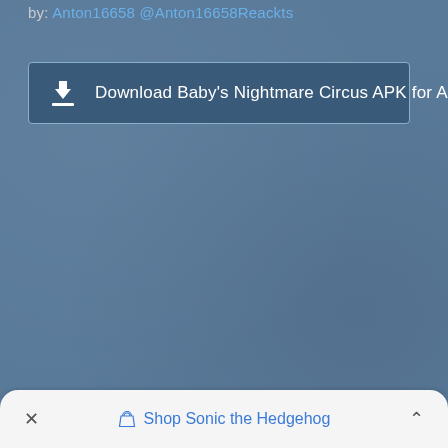by: Anton16658 @Anton16658Reackts
[Figure (screenshot): Download button with dark blue background and border: download icon on left, text 'Download Baby's Nightmare Circus APK for Android' in white]
× ◇ Shop Sonic the Hedgehog ^